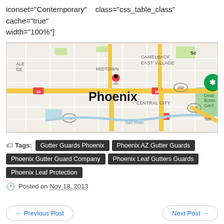iconset="Contemporary"   class="css_table_class"   cache="true" width="100%"]
[Figure (map): Google Maps view of Phoenix, AZ showing downtown area, Midtown, Camelback East Village, Central City, Salt River, and surrounding roads including I-10 and routes 202 and 143. A red location pin marks Phoenix center.]
Tags: Gutter Guards Phoenix | Phoenix AZ Gutter Guards | Phoenix Gutter Guard Company | Phoenix Leaf Gutters Guards | Phoenix Leaf Protection
Posted on Nov 18, 2013
← Previous Post
Next Post →